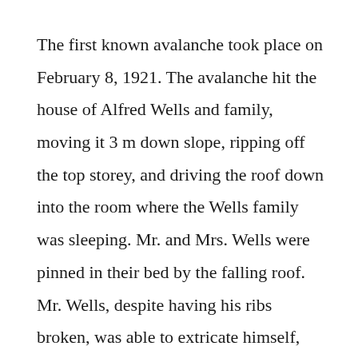The first known avalanche took place on February 8, 1921. The avalanche hit the house of Alfred Wells and family, moving it 3 m down slope, ripping off the top storey, and driving the roof down into the room where the Wells family was sleeping. Mr. and Mrs. Wells were pinned in their bed by the falling roof. Mr. Wells, despite having his ribs broken, was able to extricate himself, and rescue their two-year-old son, whose crib was crushed. He returned to free his wife, who had severe back injuries, and to rescue another infant (Geneva) who had nearly smothered under the snow. Numerous other unoccupied summer homes were either destroyed or severely